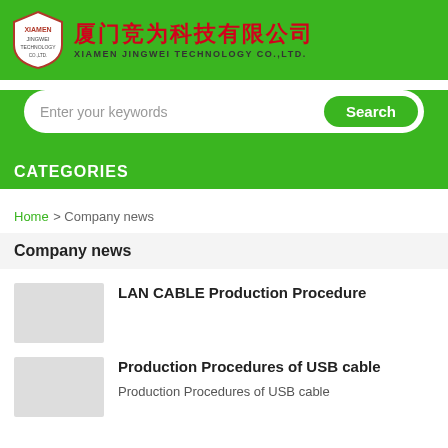[Figure (logo): Xiamen Jingwei Technology Co., Ltd. company logo with shield emblem, Chinese company name in red, and English name below]
Enter your keywords
CATEGORIES
Home > Company news
Company news
LAN CABLE Production Procedure
Production Procedures of USB cable
Production Procedures of USB cable